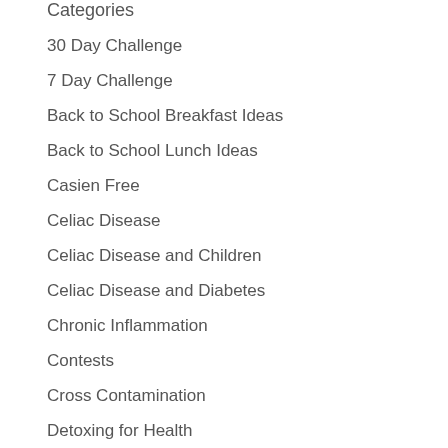Categories
30 Day Challenge
7 Day Challenge
Back to School Breakfast Ideas
Back to School Lunch Ideas
Casien Free
Celiac Disease
Celiac Disease and Children
Celiac Disease and Diabetes
Chronic Inflammation
Contests
Cross Contamination
Detoxing for Health
Diet/Weight...